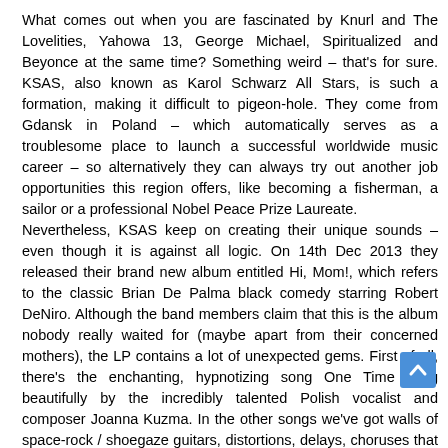What comes out when you are fascinated by Knurl and The Lovelities, Yahowa 13, George Michael, Spiritualized and Beyonce at the same time? Something weird – that's for sure. KSAS, also known as Karol Schwarz All Stars, is such a formation, making it difficult to pigeon-hole. They come from Gdansk in Poland – which automatically serves as a troublesome place to launch a successful worldwide music career – so alternatively they can always try out another job opportunities this region offers, like becoming a fisherman, a sailor or a professional Nobel Peace Prize Laureate.
Nevertheless, KSAS keep on creating their unique sounds – even though it is against all logic. On 14th Dec 2013 they released their brand new album entitled Hi, Mom!, which refers to the classic Brian De Palma black comedy starring Robert DeNiro. Although the band members claim that this is the album nobody really waited for (maybe apart from their concerned mothers), the LP contains a lot of unexpected gems. First of all, there's the enchanting, hypnotizing song One Time sang beautifully by the incredibly talented Polish vocalist and composer Joanna Kuzma. In the other songs we've got walls of space-rock / shoegaze guitars, distortions, delays, choruses that break your heart, psychedelic sounds.
Each of the vocalists takes the listener on a journey to the depth of their soul. Each of the musicians create a magical atmosphere. Such pieces as Cudy 1, Cudy 2 or Live in Aurigeno, present the highest standards of improvisation which is complemented by an Indian sitar. Hi, Mom! lets the listener experience real beauty and meditative silence but also provides with songs that culminate in a... at tears out your heart and soul and gets you on a verge of emotional breakd... ...e Letter To... or gives you creeps and causes anxiety like the moving Neurotic (also